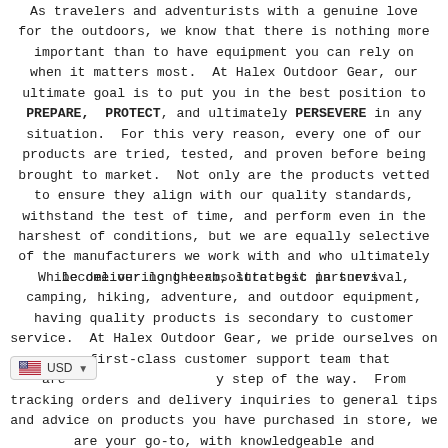As travelers and adventurists with a genuine love for the outdoors, we know that there is nothing more important than to have equipment you can rely on when it matters most. At Halex Outdoor Gear, our ultimate goal is to put you in the best position to PREPARE, PROTECT, and ultimately PERSEVERE in any situation. For this very reason, every one of our products are tried, tested, and proven before being brought to market. Not only are the products vetted to ensure they align with our quality standards, withstand the test of time, and perform even in the harshest of conditions, but we are equally selective of the manufacturers we work with and who ultimately become our long-term, strategic partners.
While delivering the absolute best in survival, camping, hiking, adventure, and outdoor equipment, having quality products is secondary to customer service. At Halex Outdoor Gear, we pride ourselves on our first-class customer support team that are [USD] every step of the way. From tracking orders and delivery inquiries to general tips and advice on products you have purchased in store, we are your go-to, with knowledgeable and